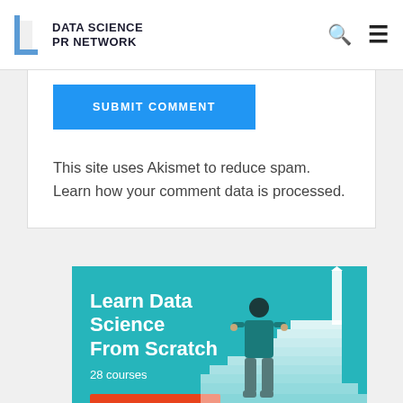DATA SCIENCE PR NETWORK
SUBMIT COMMENT
This site uses Akismet to reduce spam. Learn how your comment data is processed.
[Figure (illustration): Promotional banner: Learn Data Science From Scratch, 28 courses, Enroll Now button, with illustration of a person standing before white staircase with upward arrow, teal background.]